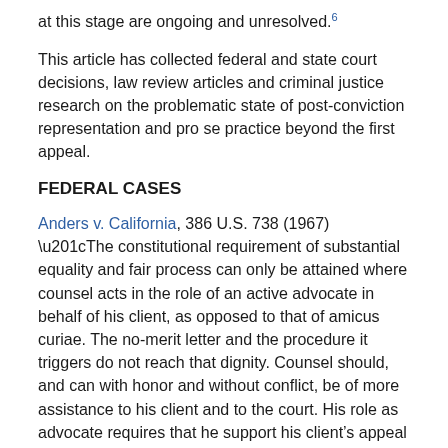at this stage are ongoing and unresolved.6
This article has collected federal and state court decisions, law review articles and criminal justice research on the problematic state of post-conviction representation and pro se practice beyond the first appeal.
FEDERAL CASES
Anders v. California, 386 U.S. 738 (1967)
“The constitutional requirement of substantial equality and fair process can only be attained where counsel acts in the role of an active advocate in behalf of his client, as opposed to that of amicus curiae. The no-merit letter and the procedure it triggers do not reach that dignity. Counsel should, and can with honor and without conflict, be of more assistance to his client and to the court. His role as advocate requires that he support his client’s appeal to the best of his ability. Of course, if counsel finds his